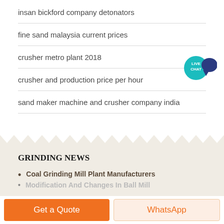insan bickford company detonators
fine sand malaysia current prices
crusher metro plant 2018
crusher and production price per hour
sand maker machine and crusher company india
[Figure (other): Live Chat button widget with teal circle and dark blue speech bubble]
GRINDING NEWS
Coal Grinding Mill Plant Manufacturers
Modification And Changes In Ball Mill
Get a Quote
WhatsApp